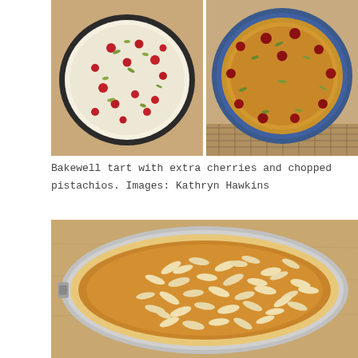[Figure (photo): Two side-by-side overhead photos of a Bakewell tart: left shows unbaked tart in a black pan with red cherries and green pistachios on white filling; right shows the same tart baked to golden brown with red cherries and herb garnish in a blue ceramic dish on a wire cooling rack.]
Bakewell tart with extra cherries and chopped pistachios. Images: Kathryn Hawkins
[Figure (photo): Overhead photo of a golden-brown Bakewell tart topped with scattered flaked almonds, in a silver springform pan on a wooden surface.]